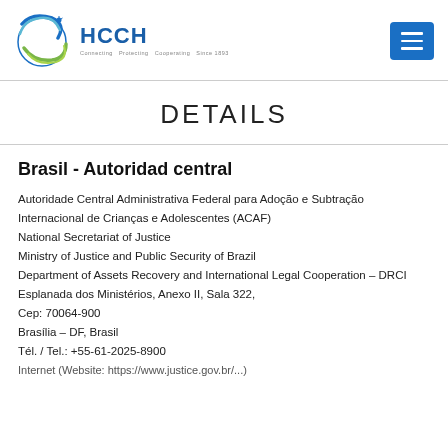HCCH — Hague Conference on Private International Law
DETAILS
Brasil - Autoridad central
Autoridade Central Administrativa Federal para Adoção e Subtração Internacional de Crianças e Adolescentes (ACAF)
National Secretariat of Justice
Ministry of Justice and Public Security of Brazil
Department of Assets Recovery and International Legal Cooperation – DRCI
Esplanada dos Ministérios, Anexo II, Sala 322,
Cep: 70064-900
Brasília – DF, Brasil
Tél. / Tel.: +55-61-2025-8900
Internet (Website: http://www.justice.gov.br/...)